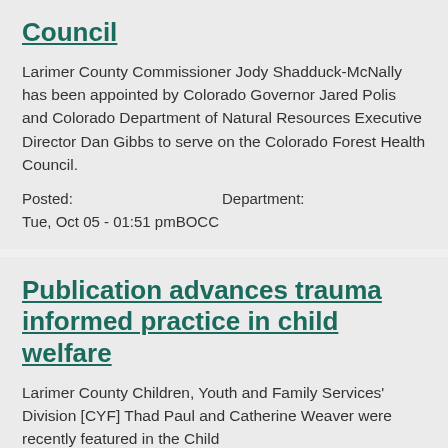Council
Larimer County Commissioner Jody Shadduck-McNally has been appointed by Colorado Governor Jared Polis and Colorado Department of Natural Resources Executive Director Dan Gibbs to serve on the Colorado Forest Health Council.
Posted: Tue, Oct 05 - 01:51 pm   Department: BOCC
Publication advances trauma informed practice in child welfare
Larimer County Children, Youth and Family Services' Division [CYF] Thad Paul and Catherine Weaver were recently featured in the Child